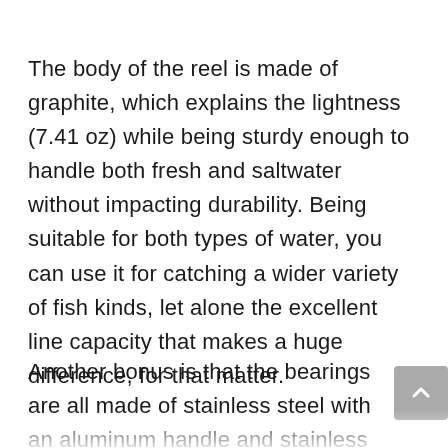The body of the reel is made of graphite, which explains the lightness (7.41 oz) while being sturdy enough to handle both fresh and saltwater without impacting durability. Being suitable for both types of water, you can use it for catching a wider variety of fish kinds, let alone the excellent line capacity that makes a huge difference, for that matter.
Another bonus is that the bearings are all made of stainless steel with an aluminum handle and stainless steel drag. All these